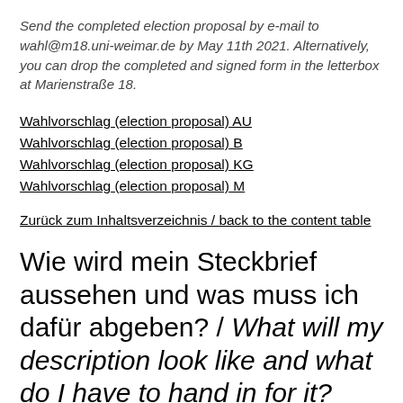Send the completed election proposal by e-mail to wahl@m18.uni-weimar.de by May 11th 2021. Alternatively, you can drop the completed and signed form in the letterbox at Marienstraße 18.
Wahlvorschlag (election proposal) AU
Wahlvorschlag (election proposal) B
Wahlvorschlag (election proposal) KG
Wahlvorschlag (election proposal) M
Zurück zum Inhaltsverzeichnis / back to the content table
Wie wird mein Steckbrief aussehen und was muss ich dafür abgeben? / What will my description look like and what do I have to hand in for it?